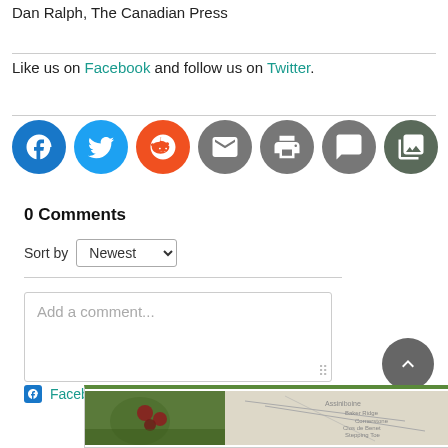Dan Ralph, The Canadian Press
Like us on Facebook and follow us on Twitter.
[Figure (other): Social sharing icons: Facebook (blue), Twitter (light blue), Reddit (orange), Email (grey), Print (grey), Comment (grey), Gallery (dark grey)]
0 Comments
Sort by Newest
Add a comment...
Facebook Comments Plugin
[Figure (photo): Bottom banner image with green top border, showing a plant/berry photo on left and a map on right]